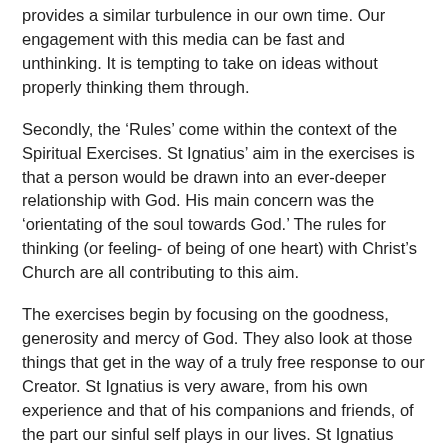provides a similar turbulence in our own time. Our engagement with this media can be fast and unthinking. It is tempting to take on ideas without properly thinking them through.
Secondly, the ‘Rules’ come within the context of the Spiritual Exercises. St Ignatius’ aim in the exercises is that a person would be drawn into an ever-deeper relationship with God. His main concern was the ‘orientating of the soul towards God.’ The rules for thinking (or feeling- of being of one heart) with Christ’s Church are all contributing to this aim.
The exercises begin by focusing on the goodness, generosity and mercy of God. They also look at those things that get in the way of a truly free response to our Creator. St Ignatius is very aware, from his own experience and that of his companions and friends, of the part our sinful self plays in our lives. St Ignatius saw how our sinful nature allowed our ‘self’ to take over and run amok in our spiritual lives. He also saw how we can be ‘blown this way and that’ by turbulence of our particular time. His rules for thinking with the Church are designed to free us from this in our approach to the issues of our day and to God’s revelation of himself, through the Church.
There are quite a few rules but they can be grouped in several